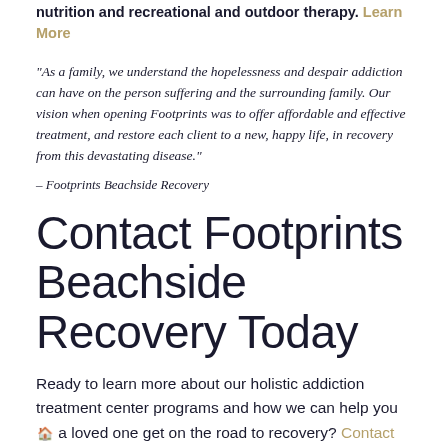nutrition and recreational and outdoor therapy. Learn More
“As a family, we understand the hopelessness and despair addiction can have on the person suffering and the surrounding family. Our vision when opening Footprints was to offer affordable and effective treatment, and restore each client to a new, happy life, in recovery from this devastating disease.”
– Footprints Beachside Recovery
Contact Footprints Beachside Recovery Today
Ready to learn more about our holistic addiction treatment center programs and how we can help you or a loved one get on the road to recovery? Contact us